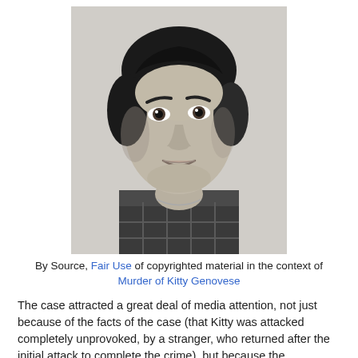[Figure (photo): Black and white portrait photograph of a young woman with short dark hair, looking directly at the camera. She is wearing a plaid or checkered collared shirt.]
By Source, Fair Use of copyrighted material in the context of Murder of Kitty Genovese
The case attracted a great deal of media attention, not just because of the facts of the case (that Kitty was attacked completely unprovoked, by a stranger, who returned after the initial attack to complete the crime), but because the